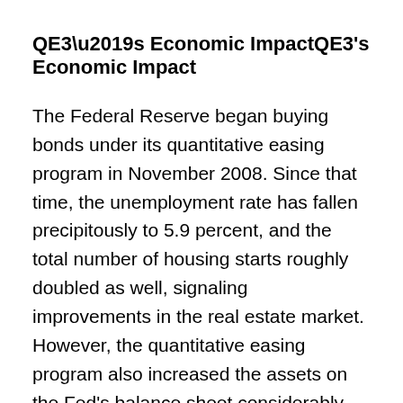QE3’s Economic Impact
The Federal Reserve began buying bonds under its quantitative easing program in November 2008. Since that time, the unemployment rate has fallen precipitously to 5.9 percent, and the total number of housing starts roughly doubled as well, signaling improvements in the real estate market. However, the quantitative easing program also increased the assets on the Fed’s balance sheet considerably, from less than $1 trillion before it began, to more than $4.5 trillion today. Furthermore, even though QE3 is ending, the Fed will continue to use the revenues that are generated from the bonds it already holds to replace maturing bonds, meaning that the Fed’s balance sheet will continue to remain large for the time being. Some